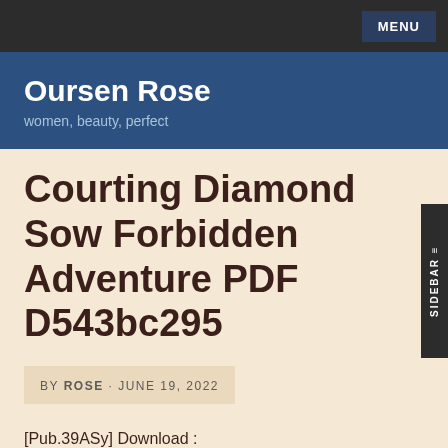MENU
Oursen Rose
women, beauty, perfect
Courting Diamond Sow Forbidden Adventure PDF D543bc295
BY ROSE · JUNE 19, 2022
[Pub.39ASy] Download :